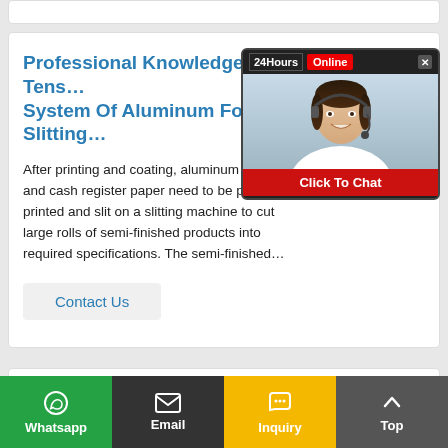Professional Knowledge Of Tension System Of Aluminum Foil Slitting...
After printing and coating, aluminum foil and cash register paper need to be post-printed and slit on a slitting machine to cut large rolls of semi-finished products into required specifications. The semi-finished...
[Figure (photo): Chat widget overlay showing a female customer service agent wearing a headset, with '24Hours Online' header bar, and a red 'Click To Chat' button at bottom.]
Development Of Domestic Double Zero Foil Project
Only China, the United States, Japan and...
Whatsapp   Email   Inquiry   Top